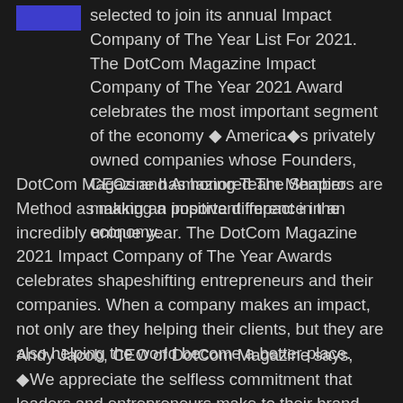selected to join its annual Impact Company of The Year List For 2021. The DotCom Magazine Impact Company of The Year 2021 Award celebrates the most important segment of the economy ◆ America◆s privately owned companies whose Founders, CEOs and Amazing Team Members are making an important impact in the economy.
DotCom Magazine has honored The Shapiro Method as making a positive difference in an incredibly unique year. The DotCom Magazine 2021 Impact Company of The Year Awards celebrates shapeshifting entrepreneurs and their companies. When a company makes an impact, not only are they helping their clients, but they are also helping the world become a better place.
Andy Jacob, CEO of DotCom Magazine says, ◆We appreciate the selfless commitment that leaders and entrepreneurs make to their brand. We are honored to award great companies our